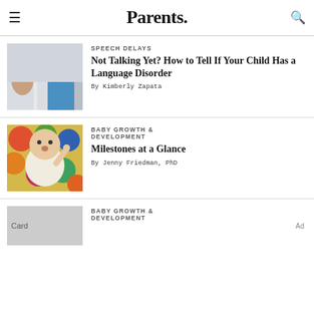Parents.
SPEECH DELAYS
Not Talking Yet? How to Tell If Your Child Has a Language Disorder
By Kimberly Zapata
[Figure (photo): A father and toddler interacting near a crib, dad leaning in close to baby.]
BABY GROWTH & DEVELOPMENT
Milestones at a Glance
By Jenny Friedman, PhD
[Figure (photo): A baby lying on a colorful patterned rug, looking upward with one finger raised.]
BABY GROWTH & DEVELOPMENT
[Figure (other): Card placeholder image]
Ad